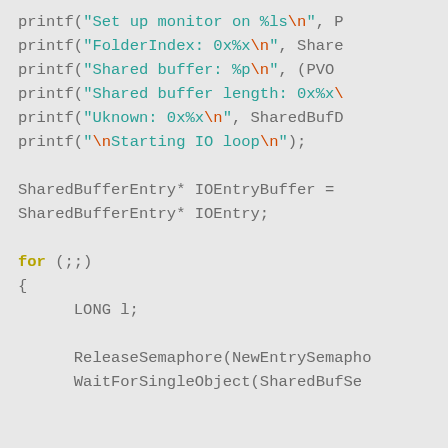[Figure (screenshot): C/C++ source code snippet showing printf statements for debug output and a for(;;) loop with SharedBufferEntry declarations, ReleaseSemaphore and WaitForSingleObject calls. Syntax highlighted with keywords in yellow-green, string literals in teal, escape sequences in orange, and identifiers in gray.]